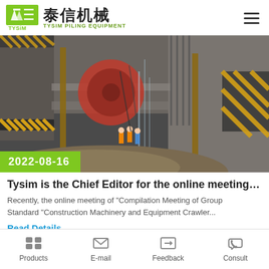泰信机械 TYSIM PILING EQUIPMENT
[Figure (photo): Construction site photo showing underground excavation with scaffolding, concrete walls with yellow-black diagonal safety markings, workers in high-visibility vests, large red drilling/tunneling machinery, wooden support poles, and pile of earth. Date badge: 2022-08-16.]
Tysim is the Chief Editor for the online meeting for th
Recently, the online meeting of "Compilation Meeting of Group Standard "Construction Machinery and Equipment Crawler...
Read Details
Products   E-mail   Feedback   Consult